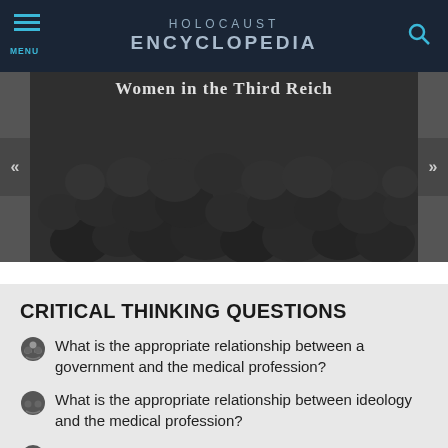Holocaust Encyclopedia
[Figure (photo): Black and white photo of a crowd of people, partially visible, with overlaid text 'Women in the Third Reich']
CRITICAL THINKING QUESTIONS
What is the appropriate relationship between a government and the medical profession?
What is the appropriate relationship between ideology and the medical profession?
What pressures and motivations may have influenced Huber's choices?